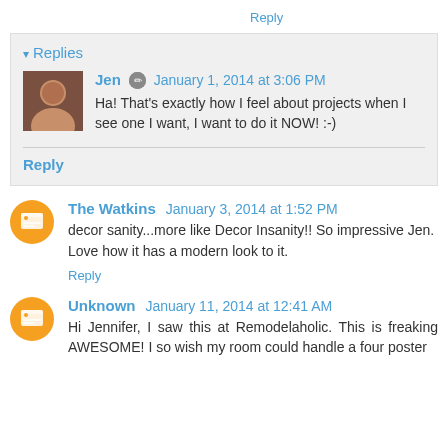Reply
▾ Replies
Jen  January 1, 2014 at 3:06 PM
Ha! That's exactly how I feel about projects when I see one I want, I want to do it NOW! :-)
Reply
The Watkins  January 3, 2014 at 1:52 PM
decor sanity...more like Decor Insanity!! So impressive Jen. Love how it has a modern look to it.
Reply
Unknown  January 11, 2014 at 12:41 AM
Hi Jennifer, I saw this at Remodelaholic. This is freaking AWESOME! I so wish my room could handle a four poster